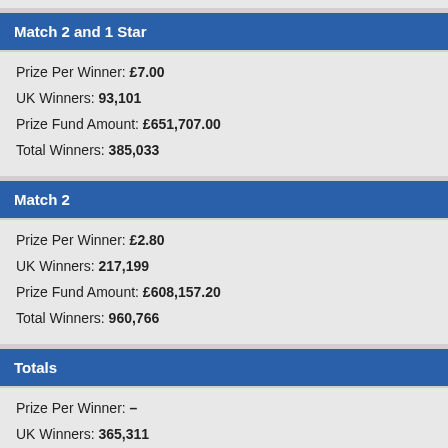Match 2 and 1 Star
Prize Per Winner: £7.00
UK Winners: 93,101
Prize Fund Amount: £651,707.00
Total Winners: 385,033
Match 2
Prize Per Winner: £2.80
UK Winners: 217,199
Prize Fund Amount: £608,157.20
Total Winners: 960,766
Totals
Prize Per Winner: –
UK Winners: 365,311